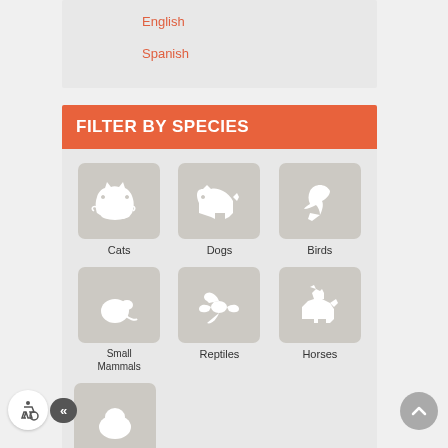English
Spanish
FILTER BY SPECIES
[Figure (illustration): Grid of animal species icons: Cats, Dogs, Birds (top row), Small Mammals, Reptiles, Horses (second row), partial third row with one more animal icon]
[Figure (illustration): Accessibility icons: wheelchair and double-chevron pill button, and scroll-to-top circular button]